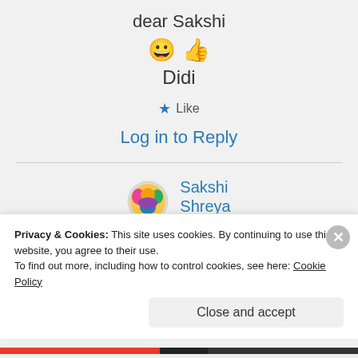dear Sakshi
[Figure (other): Smiley face and thumbs up emoji]
Didi
★ Like
Log in to Reply
[Figure (photo): User avatar for Sakshi Shreya - colorful circular profile photo]
Sakshi Shreya on 05/10/
Privacy & Cookies: This site uses cookies. By continuing to use this website, you agree to their use. To find out more, including how to control cookies, see here: Cookie Policy
Close and accept